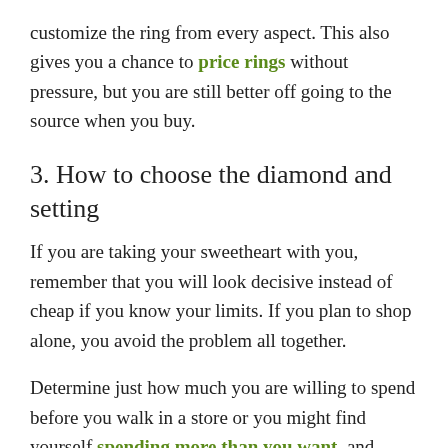customize the ring from every aspect. This also gives you a chance to price rings without pressure, but you are still better off going to the source when you buy.
3. How to choose the diamond and setting
If you are taking your sweetheart with you, remember that you will look decisive instead of cheap if you know your limits. If you plan to shop alone, you avoid the problem all together.
Determine just how much you are willing to spend before you walk in a store or you might find yourself spending more than you want, and avoid mall stores and chains like the plague.